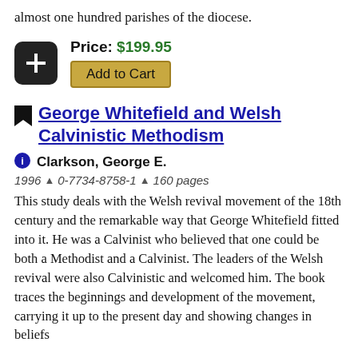almost one hundred parishes of the diocese.
Price: $199.95
Add to Cart
George Whitefield and Welsh Calvinistic Methodism
Clarkson, George E.
1996 ▲ 0-7734-8758-1 ▲ 160 pages
This study deals with the Welsh revival movement of the 18th century and the remarkable way that George Whitefield fitted into it. He was a Calvinist who believed that one could be both a Methodist and a Calvinist. The leaders of the Welsh revival were also Calvinistic and welcomed him. The book traces the beginnings and development of the movement, carrying it up to the present day and showing changes in beliefs